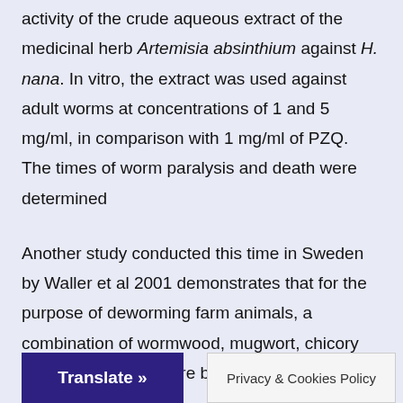activity of the crude aqueous extract of the medicinal herb Artemisia absinthium against H. nana. In vitro, the extract was used against adult worms at concentrations of 1 and 5 mg/ml, in comparison with 1 mg/ml of PZQ. The times of worm paralysis and death were determined
Another study conducted this time in Sweden by Waller et al 2001 demonstrates that for the purpose of deworming farm animals, a combination of wormwood, mugwort, chicory and common tansy are believed to have anti-parasite properties.
Translate » | Privacy & Cookies Policy